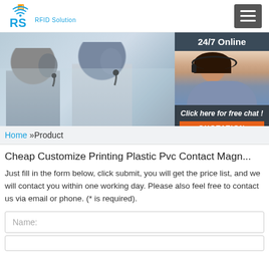[Figure (logo): RS RFID Solution logo with wifi icon above RS letters in blue]
[Figure (photo): Banner photo of call center agents wearing headsets, with 24/7 Online chat support overlay on right side showing a female agent with headset, and a dark overlay with 'Click here for free chat!' text and an orange QUOTATION button]
Home »Product
Cheap Customize Printing Plastic Pvc Contact Magn...
Just fill in the form below, click submit, you will get the price list, and we will contact you within one working day. Please also feel free to contact us via email or phone. (* is required).
Name: